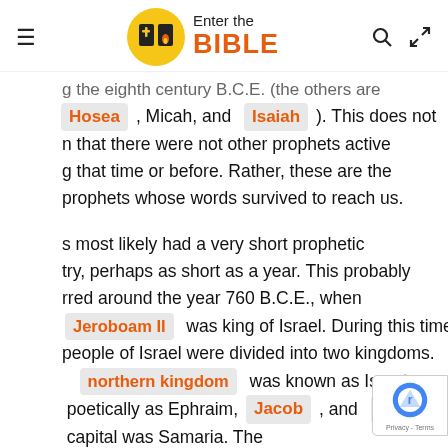Enter the BIBLE
g the eighth century B.C.E. (the others are Hosea, Micah, and Isaiah). This does not n that there were not other prophets active g that time or before. Rather, these are the prophets whose words survived to reach us.
s most likely had a very short prophetic try, perhaps as short as a year. This probably rred around the year 760 B.C.E., when Jeroboam II was king of Israel. During this time, people of Israel were divided into two kingdoms. northern kingdom was known as Israel, poetically as Ephraim, Jacob, and Isaac capital was Samaria. The